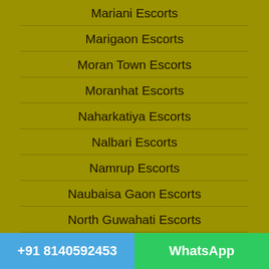Mariani Escorts
Marigaon Escorts
Moran Town Escorts
Moranhat Escorts
Naharkatiya Escorts
Nalbari Escorts
Namrup Escorts
Naubaisa Gaon Escorts
North Guwahati Escorts
North Lakhimpur Escorts
+91 8140592453  WhatsApp